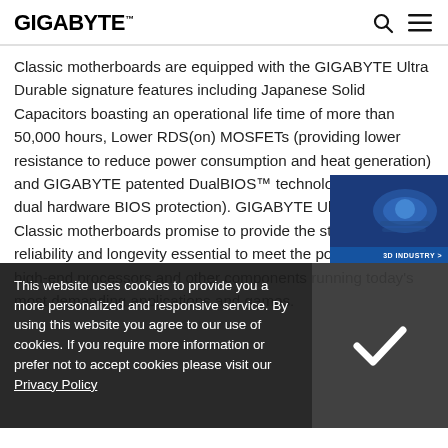GIGABYTE™
Classic motherboards are equipped with the GIGABYTE Ultra Durable signature features including Japanese Solid Capacitors boasting an operational life time of more than 50,000 hours, Lower RDS(on) MOSFETs (providing lower resistance to reduce power consumption and heat generation) and GIGABYTE patented DualBIOS™ technology (providing dual hardware BIOS protection). GIGABYTE Ultra Durable 3 Classic motherboards promise to provide the stability, reliability and longevity essential to meet the power needs of high-end processors and other components running today's most demanding applications and games.
[Figure (screenshot): 3D Industry widget in bottom-right corner showing a blue 3D rendered motherboard/component with label '3D INDUSTRY >']
This website uses cookies to provide you a more personalized and responsive service. By using this website you agree to our use of cookies. If you require more information or prefer not to accept cookies please visit our Privacy Policy